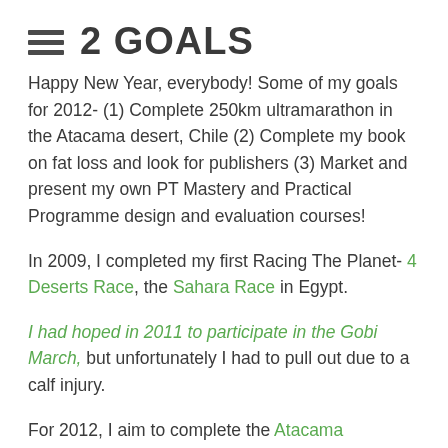2 GOALS
Happy New Year, everybody! Some of my goals for 2012- (1) Complete 250km ultramarathon in the Atacama desert, Chile (2) Complete my book on fat loss and look for publishers (3) Market and present my own PT Mastery and Practical Programme design and evaluation courses!
In 2009, I completed my first Racing The Planet- 4 Deserts Race, the Sahara Race in Egypt.
I had hoped in 2011 to participate in the Gobi March, but unfortunately I had to pull out due to a calf injury.
For 2012, I aim to complete the Atacama Crossing, which is only 47 days away! I will be focusing on structured, periodised training in the run up to the race
The Atacama in Chile is one of the few deserts on Earth that does not receive any rain. This is a challenge and...